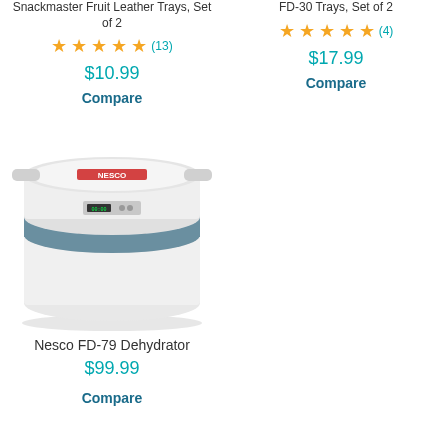Snackmaster Fruit Leather Trays, Set of 2
★★★★★ (13)
$10.99
Compare
FD-30 Trays, Set of 2
★★★★★ (4)
$17.99
Compare
[Figure (photo): Nesco FD-79 Dehydrator, a round white food dehydrator with a teal/blue-grey band around the middle, digital display on top, and the NESCO brand name on the lid.]
Nesco FD-79 Dehydrator
$99.99
Compare